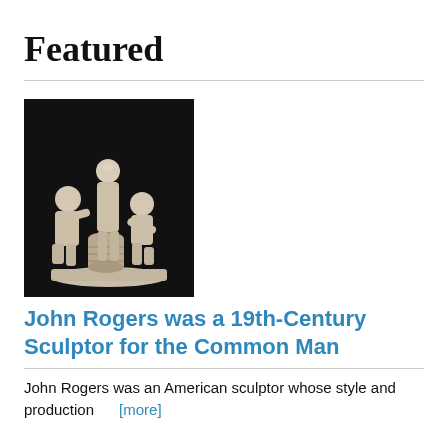Featured
[Figure (photo): Black and white photo of a plaster or ceramic sculpture group depicting three figures gathered around a barrel, in the style of 19th-century American genre sculpture by John Rogers.]
John Rogers was a 19th-Century Sculptor for the Common Man
John Rogers was an American sculptor whose style and production  [more]